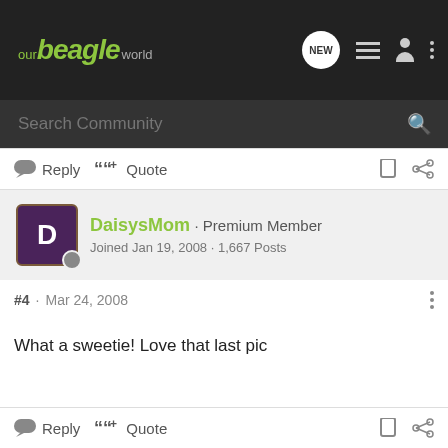our beagle world
Search Community
Reply  Quote
DaisysMom · Premium Member
Joined Jan 19, 2008 · 1,667 Posts
#4 · Mar 24, 2008
What a sweetie! Love that last pic
Reply  Quote